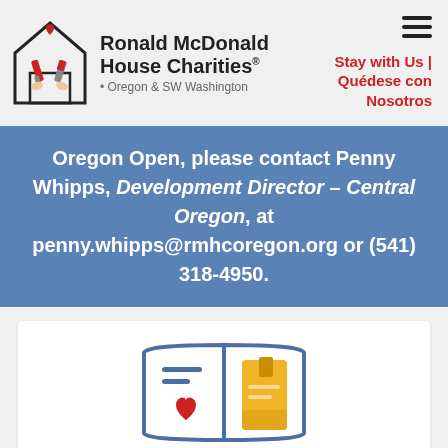[Figure (logo): Ronald McDonald House Charities Oregon & SW Washington logo with house icon and hands holding paint brushes, plus red heart]
Stay with Us | Quédese con Nosotros
Oregon Open, please contact Penny Whipps, Development Director – Central Oregon, at penny.whipps@rmhcoregon.org or (541) 318-4950.
[Figure (illustration): Open book icon with red heart on left page and yellow card/bookmark on right page, outlined in blue]